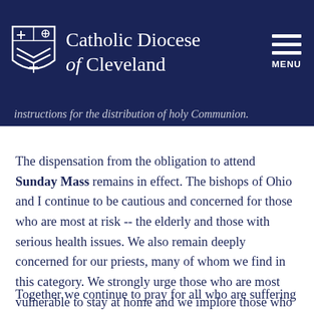Catholic Diocese of Cleveland [with logo and MENU button]
instructions for the distribution of holy Communion.
The dispensation from the obligation to attend Sunday Mass remains in effect. The bishops of Ohio and I continue to be cautious and concerned for those who are most at risk -- the elderly and those with serious health issues. We also remain deeply concerned for our priests, many of whom we find in this category. We strongly urge those who are most vulnerable to stay at home and we implore those who are not feeling well to refrain from coming to church. We thank you for your patience, understanding and cooperation as we implement this gradual return to the public celebration of Mass.
Together we continue to pray for all who are suffering